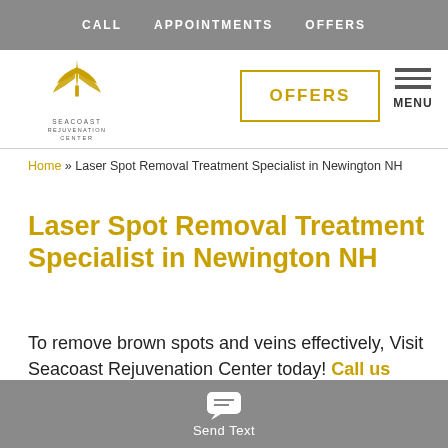CALL   APPOINTMENTS   OFFERS
[Figure (logo): Seacoast Rejuvenation Center logo with golden leaf/crown icon and text below]
OFFERS
MENU
Home » Laser Spot Removal Treatment Specialist in Newington NH
Laser Spot Removal Treatment Specialist in Newington NH
To remove brown spots and veins effectively, Visit Seacoast Rejuvenation Center today! Call us today or schedule an appointment online. Our med spa is conveniently
Send Text